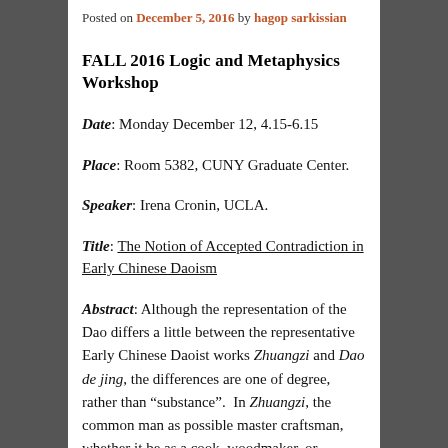Posted on December 5, 2016 by hagop sarkissian
FALL 2016 Logic and Metaphysics Workshop
Date: Monday December 12, 4.15-6.15
Place: Room 5382, CUNY Graduate Center.
Speaker: Irena Cronin, UCLA.
Title: The Notion of Accepted Contradiction in Early Chinese Daoism
Abstract: Although the representation of the Dao differs a little between the representative Early Chinese Daoist works Zhuangzi and Dao de jing, the differences are one of degree, rather than “substance”.  In Zhuangzi, the common man as possible master craftsman, whether it be as a cook, woodmaker, or fisherman, or other kind of craftsman, has the capability of understanding and embracing the